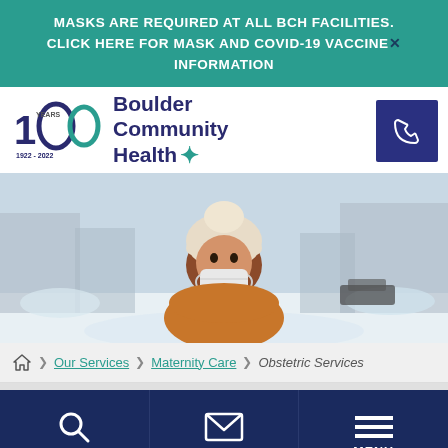MASKS ARE REQUIRED AT ALL BCH FACILITIES. CLICK HERE FOR MASK AND COVID-19 VACCINE INFORMATION
[Figure (logo): Boulder Community Health 100 Years (1922-2022) logo with teal and navy colors]
[Figure (photo): Woman wearing mask and winter clothes (beige hat, orange scarf) outdoors in snowy setting]
Our Services > Maternity Care > Obstetric Services
SEARCH
CONTACT
MENU